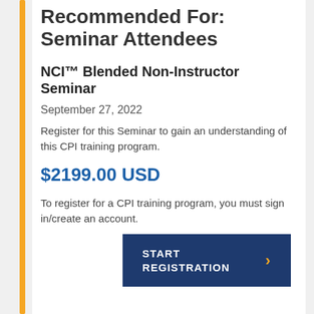Recommended For: Seminar Attendees
NCI™ Blended Non-Instructor Seminar
September 27, 2022
Register for this Seminar to gain an understanding of this CPI training program.
$2199.00 USD
To register for a CPI training program, you must sign in/create an account.
[Figure (other): Dark blue START REGISTRATION button with orange chevron arrow]